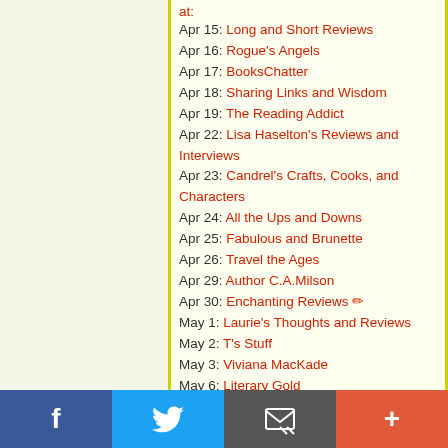at:
Apr 15: Long and Short Reviews
Apr 16: Rogue's Angels
Apr 17: BooksChatter
Apr 18: Sharing Links and Wisdom
Apr 19: The Reading Addict
Apr 22: Lisa Haselton's Reviews and Interviews
Apr 23: Candrel's Crafts, Cooks, and Characters
Apr 24: All the Ups and Downs
Apr 25: Fabulous and Brunette
Apr 26: Travel the Ages
Apr 29: Author C.A.Milson
Apr 30: Enchanting Reviews ✏
May 1: Laurie's Thoughts and Reviews
May 2: T's Stuff
May 3: Viviana MacKade
May 6: Literary Gold